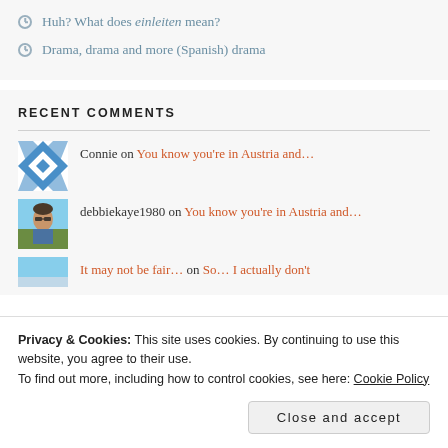Huh? What does einleiten mean?
Drama, drama and more (Spanish) drama
RECENT COMMENTS
Connie on You know you're in Austria and…
debbiekaye1980 on You know you're in Austria and…
It may not be fair… on So… I actually don't
Privacy & Cookies: This site uses cookies. By continuing to use this website, you agree to their use.
To find out more, including how to control cookies, see here: Cookie Policy